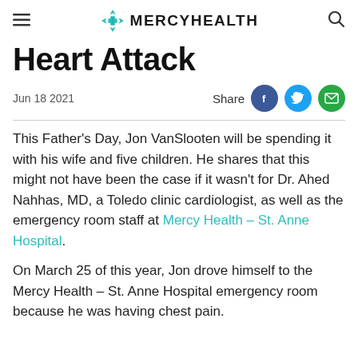MERCYHEALTH
Heart Attack
Jun 18 2021
This Father's Day, Jon VanSlooten will be spending it with his wife and five children. He shares that this might not have been the case if it wasn't for Dr. Ahed Nahhas, MD, a Toledo clinic cardiologist, as well as the emergency room staff at Mercy Health – St. Anne Hospital.
On March 25 of this year, Jon drove himself to the Mercy Health – St. Anne Hospital emergency room because he was having chest pain.